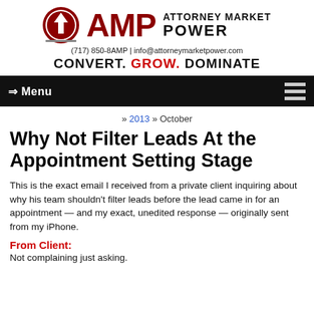[Figure (logo): AMP Attorney Market Power logo with red circle containing upward arrow, bold red AMP text, and black ATTORNEY MARKET POWER text]
(717) 850-8AMP | info@attorneymarketpower.com
CONVERT. GROW. DOMINATE
⇒ Menu
» 2013 » October
Why Not Filter Leads At the Appointment Setting Stage
This is the exact email I received from a private client inquiring about why his team shouldn't filter leads before the lead came in for an appointment — and my exact, unedited response — originally sent from my iPhone.
From Client:
Not complaining just asking.